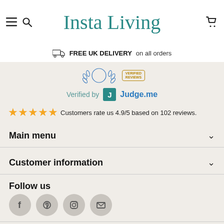Insta Living
FREE UK DELIVERY on all orders
[Figure (logo): Verified Reviews badge with wheat/leaf icons and Judge.me logo]
Customers rate us 4.9/5 based on 102 reviews.
Main menu
Customer information
Follow us
[Figure (infographic): Social media icons: Facebook, Pinterest, Instagram, Email]